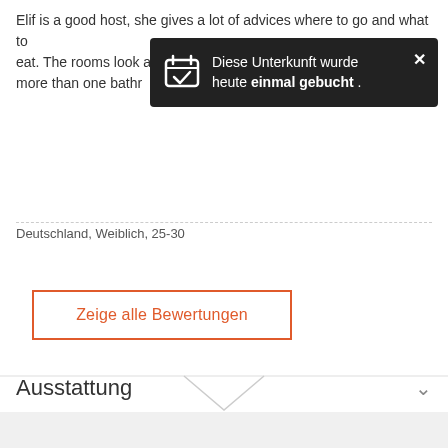Elif is a good host, she gives a lot of advices where to go and what to eat. The rooms look a... beds for more privacy... more than one bathr...
[Figure (screenshot): Dark tooltip notification overlay reading: 'Diese Unterkunft wurde heute einmal gebucht .' with a calendar checkmark icon and an X close button]
Deutschland, Weiblich, 25-30
Zeige alle Bewertungen
[Figure (other): Horizontal divider line with a downward chevron/V shape in the center]
Ausstattung